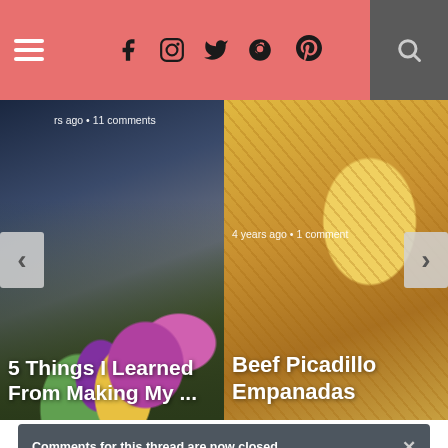Navigation header with hamburger menu, social icons (Facebook, Instagram, Twitter, Pinterest), and search
[Figure (screenshot): Blog post thumbnail: '5 Things I Learned From Making My ...' with purple flowers background, showing '... rs ago • 11 comments']
[Figure (screenshot): Blog post thumbnail: 'Beef Picadillo Empanadas' with golden empanadas background, showing '4 years ago • 1 comment']
Comments for this thread are now closed
Comments  Community  🔒  1  Login
♡ Favorite  1    Sort by Oldest
Erin
14 years ago
Those are quite the purple dishes! It's my favorite color so I